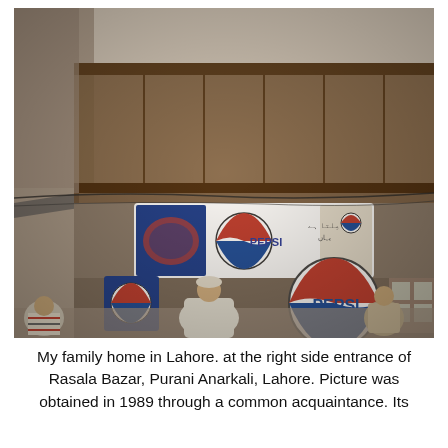[Figure (photo): Vintage photograph (circa 1989) of a street-level shop in Lahore, Pakistan. The building has wooden upper floors with shuttered windows. Large Pepsi advertising signs are prominently displayed — one horizontal billboard with the Pepsi logo and Urdu text, and one large circular Pepsi logo on the storefront below. People are visible on the street in front of the shop. The image has warm, faded tones typical of 1980s film photography.]
My family home in Lahore. at the right side entrance of Rasala Bazar, Purani Anarkali, Lahore. Picture was obtained in 1989 through a common acquaintance. Its